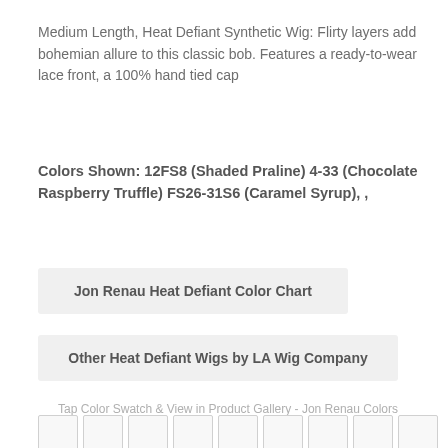Medium Length, Heat Defiant Synthetic Wig: Flirty layers add bohemian allure to this classic bob. Features a ready-to-wear lace front, a 100% hand tied cap
Colors Shown: 12FS8 (Shaded Praline) 4-33 (Chocolate Raspberry Truffle) FS26-31S6 (Caramel Syrup), ,
Jon Renau Heat Defiant Color Chart
Other Heat Defiant Wigs by LA Wig Company
Tap Color Swatch & View in Product Gallery - Jon Renau Colors
[Figure (other): Two rows of color swatch boxes, partially visible at the bottom of the page]